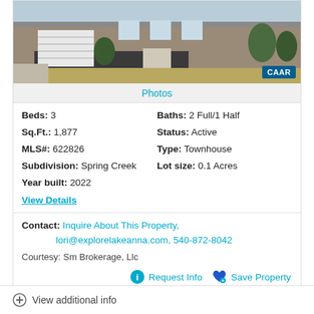[Figure (photo): Exterior photo of a townhouse with stone facade, white garage door, and landscaped driveway. CAAR watermark in bottom right.]
Photos
Beds: 3   Baths: 2 Full/1 Half
Sq.Ft.: 1,877   Status: Active
MLS#: 622826   Type: Townhouse
Subdivision: Spring Creek   Lot size: 0.1 Acres
Year built: 2022
View Details
Contact: Inquire About This Property, lori@explorelakeanna.com, 540-872-8042
Courtesy: Sm Brokerage, Llc
Request Info   Save Property
View additional info